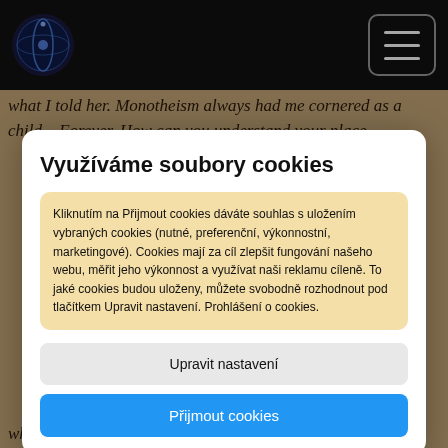Navigation bar with logo and hamburger menu
what I told her. Monotheism always had me cornered as a child... Forever. How can you understand your place
Využíváme soubory cookies
Kliknutím na Přijmout cookies dáváte souhlas s uložením vybraných cookies (nutné, preferenční, výkonnostní, marketingové). Cookies mají za cíl zlepšit fungování našeho webu, měřit jeho výkonnost a využívat naši reklamu cíleně. To jaké cookies budou uloženy, můžete svobodně rozhodnout pod tlačítkem Upravit nastavení. Prohlášení o cookies.
Upravit nastavení
Přijmout cookies
whim. This is longing. This is not getting.